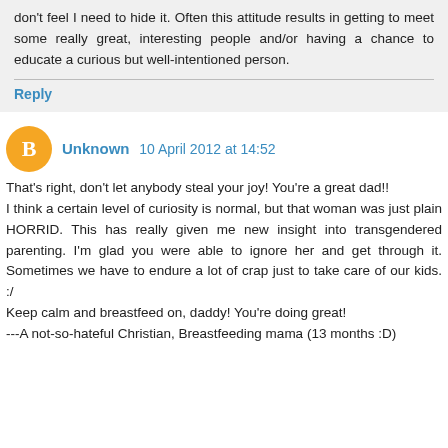don't feel I need to hide it. Often this attitude results in getting to meet some really great, interesting people and/or having a chance to educate a curious but well-intentioned person.
Reply
Unknown  10 April 2012 at 14:52
That's right, don't let anybody steal your joy! You're a great dad!!
I think a certain level of curiosity is normal, but that woman was just plain HORRID. This has really given me new insight into transgendered parenting. I'm glad you were able to ignore her and get through it. Sometimes we have to endure a lot of crap just to take care of our kids. :/
Keep calm and breastfeed on, daddy! You're doing great!
---A not-so-hateful Christian, Breastfeeding mama (13 months :D)